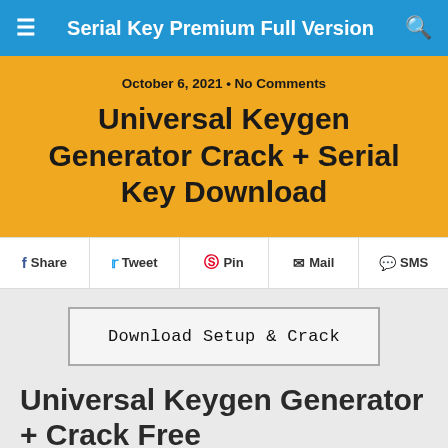Serial Key Premium Full Version
October 6, 2021 • No Comments
Universal Keygen Generator Crack + Serial Key Download
Share  Tweet  Pin  Mail  SMS
Download Setup & Crack
Universal Keygen Generator + Crack Free